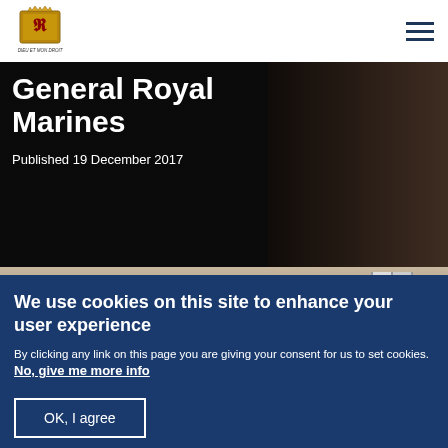UK Government - Royal Marines page header with logo and menu
General Royal Marines
Published 19 December 2017
[Figure (photo): Photo of a person with reddish hair viewed from behind, near a door or window frame, dark background]
We use cookies on this site to enhance your user experience
By clicking any link on this page you are giving your consent for us to set cookies. No, give me more info
OK, I agree